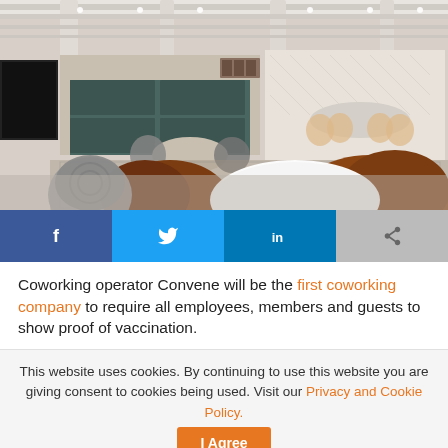[Figure (photo): Interior of a modern coworking space with round tables, leather and woven chairs, white structural beams on ceiling, and a coffee bar/kitchen area in the background.]
[Figure (infographic): Social sharing bar with four buttons: Facebook (dark blue), Twitter (light blue), LinkedIn (medium blue), and a share/forward button (grey).]
Coworking operator Convene will be the first coworking company to require all employees, members and guests to show proof of vaccination.
This website uses cookies. By continuing to use this website you are giving consent to cookies being used. Visit our Privacy and Cookie Policy.   I Agree